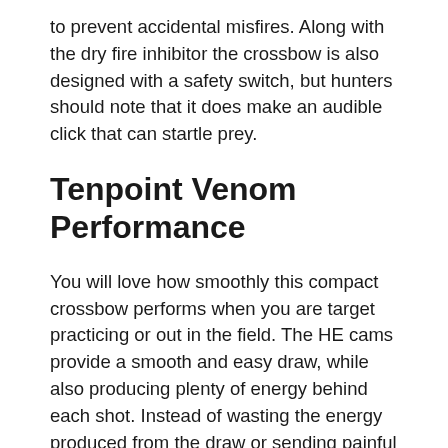to prevent accidental misfires. Along with the dry fire inhibitor the crossbow is also designed with a safety switch, but hunters should note that it does make an audible click that can startle prey.
Tenpoint Venom Performance
You will love how smoothly this compact crossbow performs when you are target practicing or out in the field. The HE cams provide a smooth and easy draw, while also producing plenty of energy behind each shot. Instead of wasting the energy produced from the draw or sending painful vibrations, it channels behind the arrow for a more powerful shot.
The bow is capable of speeds up to 372 feet per second, which is more than enough to keep up with your prey and with a draw weight of 185 pounds you can easily and humanely take down most types of North American game